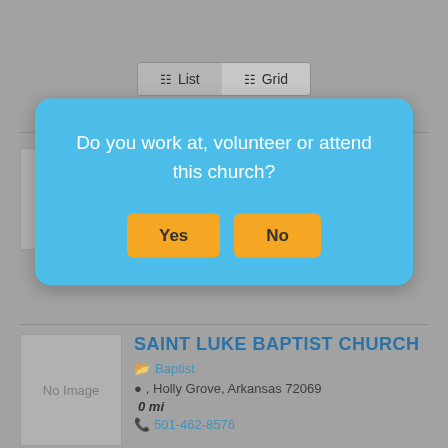[Figure (screenshot): Toggle buttons showing List and Grid view options]
FIRST BAPTIST CHURCH
[Figure (screenshot): Modal dialog asking 'Do you work at, volunteer or attend this church?' with Yes and No buttons]
SAINT LUKE BAPTIST CHURCH
Baptist
, Holly Grove, Arkansas 72069
0 mi
501-462-8576